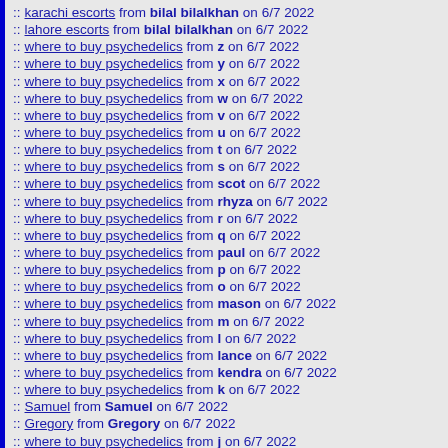:: karachi escorts from bilal bilalkhan on 6/7 2022
:: lahore escorts from bilal bilalkhan on 6/7 2022
:: where to buy psychedelics from z on 6/7 2022
:: where to buy psychedelics from y on 6/7 2022
:: where to buy psychedelics from x on 6/7 2022
:: where to buy psychedelics from w on 6/7 2022
:: where to buy psychedelics from v on 6/7 2022
:: where to buy psychedelics from u on 6/7 2022
:: where to buy psychedelics from t on 6/7 2022
:: where to buy psychedelics from s on 6/7 2022
:: where to buy psychedelics from scot on 6/7 2022
:: where to buy psychedelics from rhyza on 6/7 2022
:: where to buy psychedelics from r on 6/7 2022
:: where to buy psychedelics from q on 6/7 2022
:: where to buy psychedelics from paul on 6/7 2022
:: where to buy psychedelics from p on 6/7 2022
:: where to buy psychedelics from o on 6/7 2022
:: where to buy psychedelics from mason on 6/7 2022
:: where to buy psychedelics from m on 6/7 2022
:: where to buy psychedelics from l on 6/7 2022
:: where to buy psychedelics from lance on 6/7 2022
:: where to buy psychedelics from kendra on 6/7 2022
:: where to buy psychedelics from k on 6/7 2022
:: Samuel from Samuel on 6/7 2022
:: Gregory from Gregory on 6/7 2022
:: where to buy psychedelics from j on 6/7 2022
:: where to buy psychedelics from junior on 6/7 2022
:: where to buy psychedelics from johnson on 6/7 2022
:: where to buy psychedelics from i on 6/7 2022
:: where to buy psychedelics from h on 6/7 2022